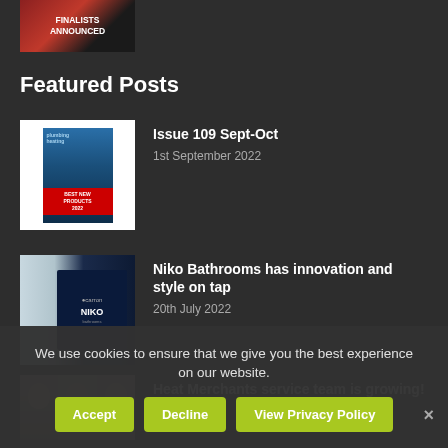[Figure (photo): Partially visible image with text 'FINALISTS ANNOUNCED' on a dark red/orange background]
Featured Posts
[Figure (photo): Magazine cover for Issue 109 Sept-Oct, blue and red design]
Issue 109 Sept-Oct
1st September 2022
[Figure (photo): Niko Bathrooms signage with dark blue background showing Carron and Niko branding]
Niko Bathrooms has innovation and style on tap
20th July 2022
[Figure (photo): Three men's headshots/faces, partially visible]
Heat Merchants service team is growing!
20th July 2022
We use cookies to ensure that we give you the best experience on our website.
Accept
Decline
View Privacy Policy